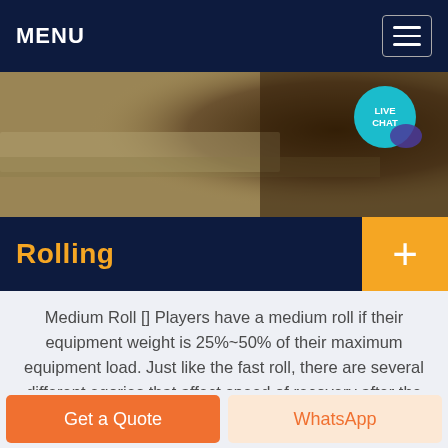MENU
[Figure (photo): Aerial or close-up view of gravel/crushed stone on ground, sandy-brown texture on left fading to dark gravel on right]
Rolling
Medium Roll [] Players have a medium roll if their equipment weight is 25%~50% of their maximum equipment load. Just like the fast roll, there are several different egories that affect speed of recovery after the roll: Fastest medium roll At which the player is between
Get a Quote
WhatsApp